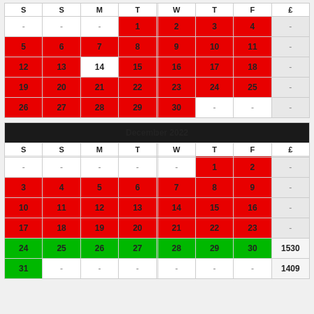| S | S | M | T | W | T | F | £ |
| --- | --- | --- | --- | --- | --- | --- | --- |
| - | - | - | 1 | 2 | 3 | 4 | - |
| 5 | 6 | 7 | 8 | 9 | 10 | 11 | - |
| 12 | 13 | 14 | 15 | 16 | 17 | 18 | - |
| 19 | 20 | 21 | 22 | 23 | 24 | 25 | - |
| 26 | 27 | 28 | 29 | 30 | - | - | - |
| S | S | M | T | W | T | F | £ |
| --- | --- | --- | --- | --- | --- | --- | --- |
| - | - | - | - | - | 1 | 2 | - |
| 3 | 4 | 5 | 6 | 7 | 8 | 9 | - |
| 10 | 11 | 12 | 13 | 14 | 15 | 16 | - |
| 17 | 18 | 19 | 20 | 21 | 22 | 23 | - |
| 24 | 25 | 26 | 27 | 28 | 29 | 30 | 1530 |
| 31 | - | - | - | - | - | - | 1409 |